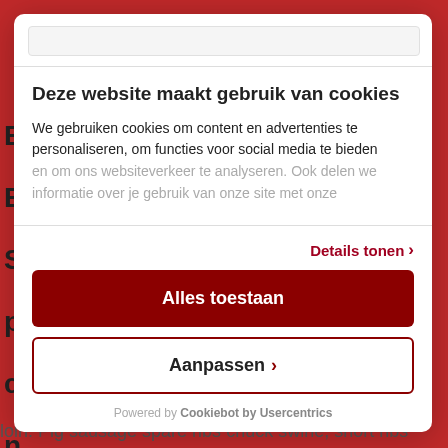Deze website maakt gebruik van cookies
We gebruiken cookies om content en advertenties te personaliseren, om functies voor social media te bieden en om ons websiteverkeer te analyseren. Ook delen we informatie over je gebruik van onze site met onze
Details tonen
Alles toestaan
Aanpassen
Powered by Cookiebot by Usercentrics
loin. Pig sausage spare ribs chuck swine, short ribs